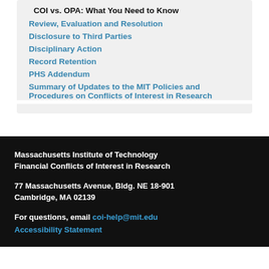COI vs. OPA: What You Need to Know
Review, Evaluation and Resolution
Disclosure to Third Parties
Disciplinary Action
Record Retention
PHS Addendum
Summary of Updates to the MIT Policies and Procedures on Conflicts of Interest in Research
Massachusetts Institute of Technology Financial Conflicts of Interest in Research
77 Massachusetts Avenue, Bldg. NE 18-901
Cambridge, MA 02139

For questions, email coi-help@mit.edu
Accessibility Statement